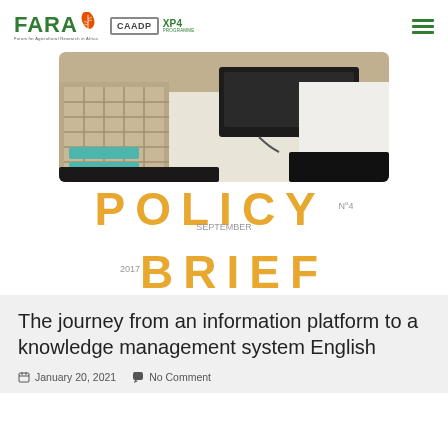FARA CAADP XP4 PROGRAMME
[Figure (photo): A person sitting at a table with a laptop and cables visible, wearing a checkered outfit, with a white tablecloth in the foreground and dark background]
POLICY BRIEF No.4 September 2017
The journey from an information platform to a knowledge management system English
January 20, 2021   No Comment